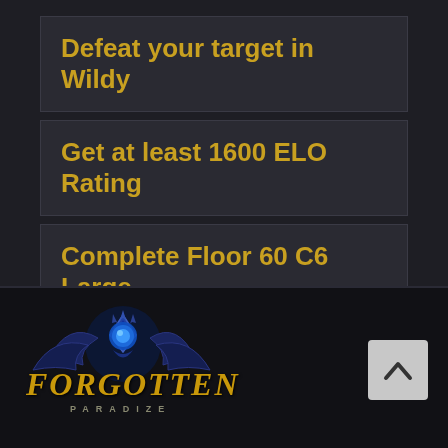Defeat your target in Wildy
Get at least 1600 ELO Rating
Complete Floor 60 C6 Large
Obtain a Tokhaar-kal
[Figure (logo): Forgotten Paradize game logo with stylized blue orb and winged emblem, golden italic text 'FORGOTTEN' and smaller spaced text 'PARADIZE']
[Figure (other): Scroll-to-top button with upward chevron arrow on light grey background]